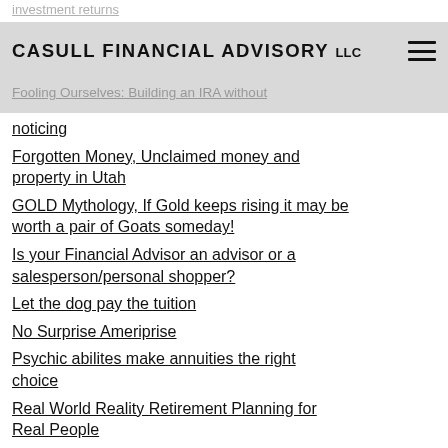CASULL FINANCIAL ADVISORY LLC
investment returns
Fooling Ourselves: Building an IRA without noticing
noticing
Forgotten Money, Unclaimed money and property in Utah
GOLD Mythology, If Gold keeps rising it may be worth a pair of Goats someday!
Is your Financial Advisor an advisor or a salesperson/personal shopper?
Let the dog pay the tuition
No Surprise Ameriprise
Psychic abilites make annuities the right choice
Real World Reality Retirement Planning for Real People